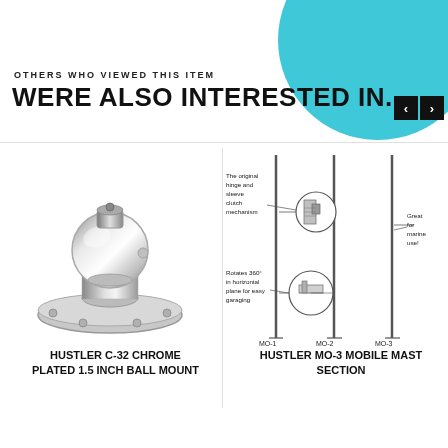OTHERS WHO VIEWED THIS ITEM
WERE ALSO INTERESTED IN...
[Figure (photo): Chrome ball mount product photo - Hustler C-32 Chrome Plated 1.5 Inch Ball Mount]
HUSTLER C-32 CHROME PLATED 1.5 INCH BALL MOUNT
[Figure (illustration): Diagram of Hustler MO-3 Mobile Mast Section showing three mast sections (MO-1, MO-2, MO-3), with callouts: 'The original hinge and sleeve clutch mechanism', 'Great for marine use!', 'Rotates 360° in horizontal plane for easy garaging']
HUSTLER MO-3 MOBILE MAST SECTION